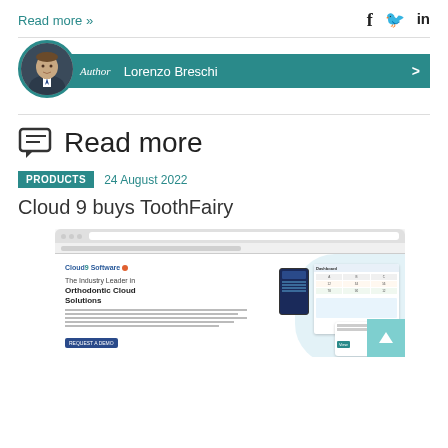Read more »
[Figure (infographic): Social media icons: Facebook (f), Twitter bird, LinkedIn (in)]
[Figure (photo): Author photo of Lorenzo Breschi with teal author bar showing Author Lorenzo Breschi]
Read more
PRODUCTS   24 August 2022
Cloud 9 buys ToothFairy
[Figure (screenshot): Screenshot of Cloud 9 Software website showing 'The Industry Leader in Orthodontic Cloud Solutions' with interface mockups]